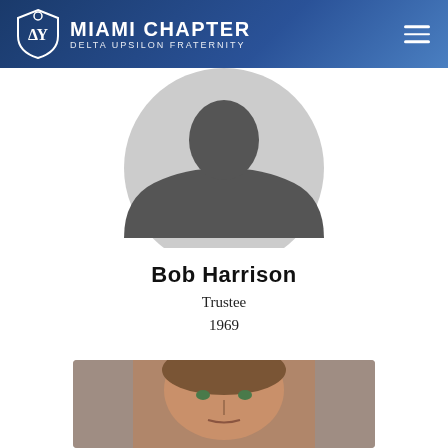Miami Chapter Delta Upsilon Fraternity
[Figure (illustration): Default avatar/silhouette placeholder image — circular gray background with dark gray person silhouette showing head and shoulders]
Bob Harrison
Trustee
1969
[Figure (photo): Headshot photo of a middle-aged man with short brown hair against a gray background]